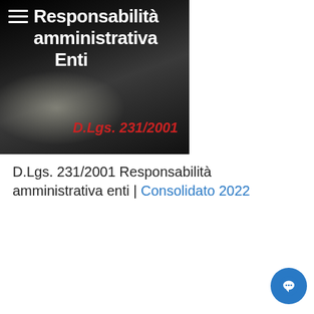[Figure (illustration): Book or publication cover with dark background, white text reading 'Responsabilità amministrativa Enti' and hamburger menu icon top left, red italic text 'D.Lgs. 231/2001' at the bottom]
D.Lgs. 231/2001 Responsabilità amministrativa enti | Consolidato 2022
Download PDF 2022
[Figure (illustration): Partial cover image for a second publication with dark and yellow background, white text 'Protezione' visible at the bottom]